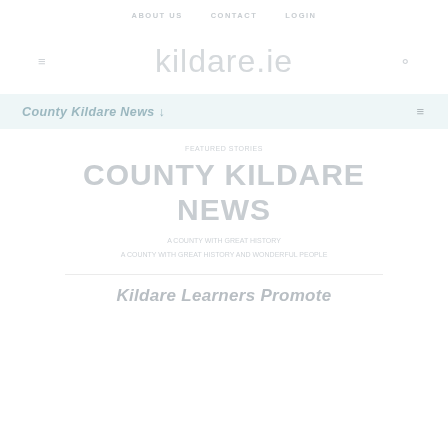ABOUT US   CONTACT   LOGIN
[Figure (logo): kildare.ie website logo with menu icon and search icon]
County Kildare News ↓  ≡
COUNTY KILDARE NEWS
FEATURED STORIES
A COUNTY WITH GREAT HISTORY AND WONDERFUL PEOPLE
Kildare Learners Promote